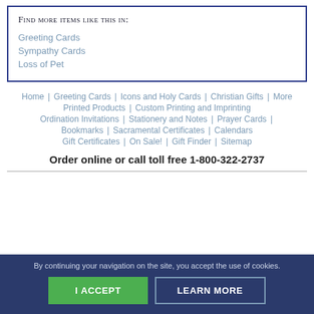Find more items like this in:
Greeting Cards
Sympathy Cards
Loss of Pet
Home | Greeting Cards | Icons and Holy Cards | Christian Gifts | More Printed Products | Custom Printing and Imprinting Ordination Invitations | Stationery and Notes | Prayer Cards | Bookmarks | Sacramental Certificates | Calendars Gift Certificates | On Sale! | Gift Finder | Sitemap
Order online or call toll free 1-800-322-2737
By continuing your navigation on the site, you accept the use of cookies.